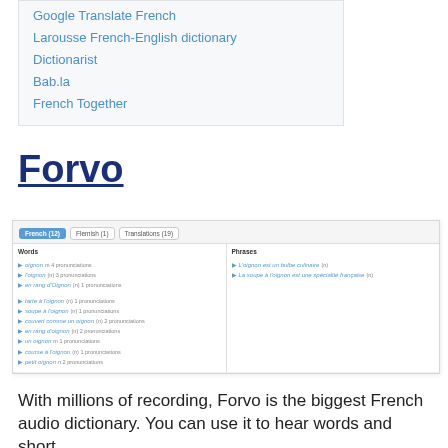Larousse French-English dictionary
Dictionarist
Bab.la
French Together
Forvo
[Figure (screenshot): Screenshot of Forvo website showing French pronunciations for 'oignon' with tabs for French (12), Flemish (1), and Translations (19). Words column lists: oignon m 4 pronunciations, l'oignon (n) 3 pronunciations, en rang d'Oignon (n) 1 pronunciations, tarte à l'oignon (n) 1 pronunciations, soupe à l'oignon (n) 1 pronunciations, couvert comme un oignon (n) 2 pronunciations, en rang d'oignon (n) 2 pronunciations, un oignon m 1 pronunciations, course à l'oignon (n) 1 pronunciations, petit oignon (n) 2 pronunciations. Phrases column lists: L'oignon est un bulbe culinaire (n), La soupe à l'oignon est une spécialité française (n).]
With millions of recording, Forvo is the biggest French audio dictionary. You can use it to hear words and short